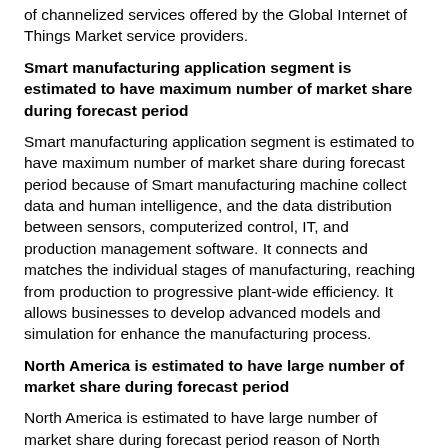of channelized services offered by the Global Internet of Things Market service providers.
Smart manufacturing application segment is estimated to have maximum number of market share during forecast period
Smart manufacturing application segment is estimated to have maximum number of market share during forecast period because of Smart manufacturing machine collect data and human intelligence, and the data distribution between sensors, computerized control, IT, and production management software. It connects and matches the individual stages of manufacturing, reaching from production to progressive plant-wide efficiency. It allows businesses to develop advanced models and simulation for enhance the manufacturing process.
North America is estimated to have large number of market share during forecast period
North America is estimated to have large number of market share during forecast period reason of North America have well-known economies, which allows them to strongly finance in R&D. The fast digitalization across industry verticals, the